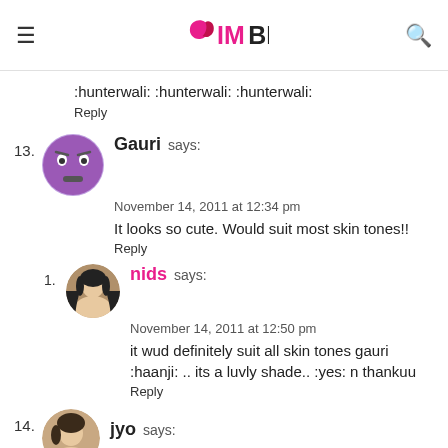IMBB
:hunterwali: :hunterwali: :hunterwali:
Reply
13. Gauri says:
November 14, 2011 at 12:34 pm
It looks so cute. Would suit most skin tones!!
Reply
1. nids says:
November 14, 2011 at 12:50 pm
it wud definitely suit all skin tones gauri :haanji: .. its a luvly shade.. :yes: n thankuu
Reply
14. jyo says: